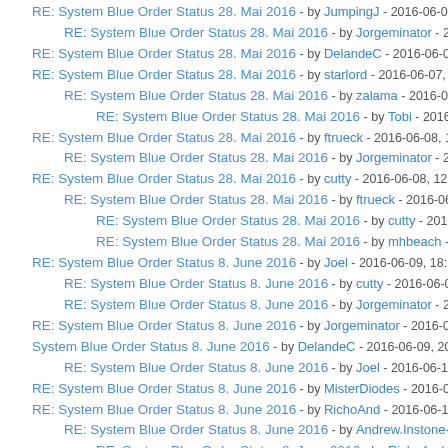RE: System Blue Order Status 28. Mai 2016 - by JumpingJ - 2016-06-07, 2
RE: System Blue Order Status 28. Mai 2016 - by Jorgeminator - 2016-06
RE: System Blue Order Status 28. Mai 2016 - by DelandeC - 2016-06-07, 20:
RE: System Blue Order Status 28. Mai 2016 - by starlord - 2016-06-07, 22:22
RE: System Blue Order Status 28. Mai 2016 - by zalama - 2016-06-08, 04:
RE: System Blue Order Status 28. Mai 2016 - by Tobi - 2016-06-08, 15:5
RE: System Blue Order Status 28. Mai 2016 - by ftrueck - 2016-06-08, 10:30
RE: System Blue Order Status 28. Mai 2016 - by Jorgeminator - 2016-06-0
RE: System Blue Order Status 28. Mai 2016 - by cutty - 2016-06-08, 12:05
RE: System Blue Order Status 28. Mai 2016 - by ftrueck - 2016-06-08, 23:2
RE: System Blue Order Status 28. Mai 2016 - by cutty - 2016-06-09, 00:
RE: System Blue Order Status 28. Mai 2016 - by mhbeach - 2016-06-09
RE: System Blue Order Status 8. June 2016 - by Joel - 2016-06-09, 18:51
RE: System Blue Order Status 8. June 2016 - by cutty - 2016-06-09, 19:19
RE: System Blue Order Status 8. June 2016 - by Jorgeminator - 2016-06-09
RE: System Blue Order Status 8. June 2016 - by Jorgeminator - 2016-06-09, 2
System Blue Order Status 8. June 2016 - by DelandeC - 2016-06-09, 20:57
RE: System Blue Order Status 8. June 2016 - by Joel - 2016-06-10, 14:59
RE: System Blue Order Status 8. June 2016 - by MisterDiodes - 2016-06-11, 0
RE: System Blue Order Status 8. June 2016 - by RichoAnd - 2016-06-11, 06:4
RE: System Blue Order Status 8. June 2016 - by Andrew.Instone-Cowie - 2
RE: System Blue Order Status 8. June 2016 - by RichoAnd - 2016-06-11
RE: System Blue Order Status 8. June 2016 - by mhbeach - 2016-06-
RE: System Blue Order Status 8. June 2016 - by mhbeach - 2016-06-
RE: System Blue Order Status 8. June 2016 - by Andrew.Instone-Co